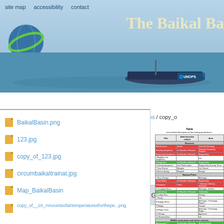[Figure (screenshot): Website header banner for The Baikal Basin project showing GEF logo, navigation links (site map, accessibility, contact), blue lake/water scene with boat and UNOPS branding]
site map   accessibility   contact
The Baikal Ba
Home | Report | News | GIS | Monitoring
You are here: Home / Photos / copy_o
BaikalBasin.png
123.jpg
copy_of_123.jpg
circumbaikaltrainat.jpg
Map_BaikalBasin
copy_of__19_Amountsofairtemperaturesforthepe...png
[Figure (table-as-image): Embedded table showing List and brief description of the existing protected areas around Baikal Basin with columns Title, Administrative subject, and Area, with rows colored red and green for different protected area categories including Reserves and National Parks]